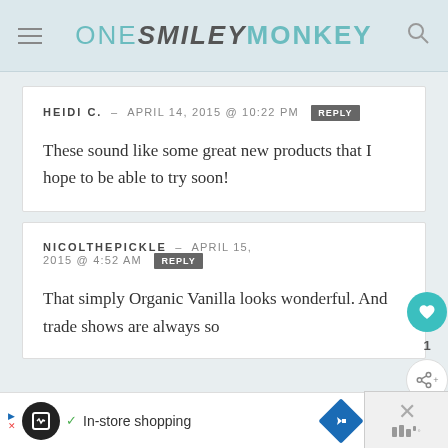ONE SMILEY MONKEY
HEIDI C. – APRIL 14, 2015 @ 10:22 PM  REPLY
These sound like some great new products that I hope to be able to try soon!
NICOLTHEPICKLE – APRIL 15, 2015 @ 4:52 AM  REPLY
That simply Organic Vanilla looks wonderful. And trade shows are always so
In-store shopping